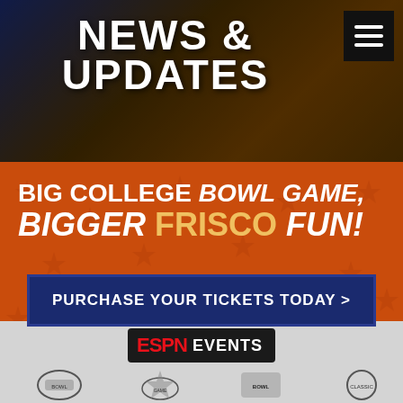NEWS & UPDATES
BIG COLLEGE BOWL GAME, BIGGER FRISCO FUN!
PURCHASE YOUR TICKETS TODAY >
[Figure (logo): ESPN EVENTS logo in black box with red ESPN text and white EVENTS text]
[Figure (logo): Row of bowl game sponsor logos in grayscale at bottom]